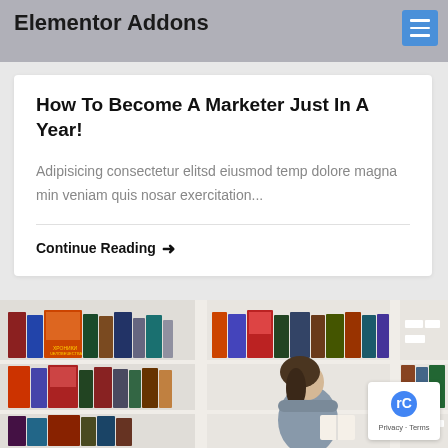Elementor Addons
How To Become A Marketer Just In A Year!
Adipisicing consectetur elitsd eiusmod temp dolore magna min veniam quis nosar exercitation...
Continue Reading →
[Figure (photo): Library bookshelf scene with colorful books in white shelving units and a woman browsing books]